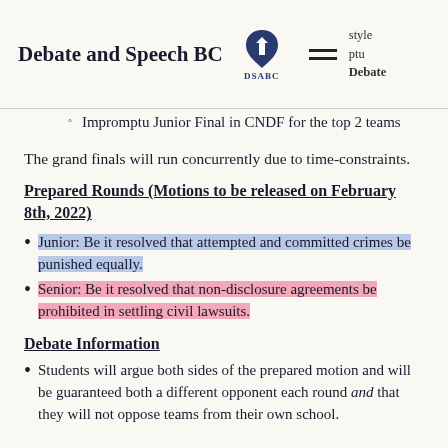Debate and Speech BC
Impromptu Junior Final in CNDF for the top 2 teams
The grand finals will run concurrently due to time-constraints.
Prepared Rounds (Motions to be released on February 8th, 2022)
Junior: Be it resolved that attempted and committed crimes be punished equally.
Senior: Be it resolved that non-disclosure agreements be prohibited in settling civil lawsuits.
Debate Information
Students will argue both sides of the prepared motion and will be guaranteed both a different opponent each round and that they will not oppose teams from their own school.